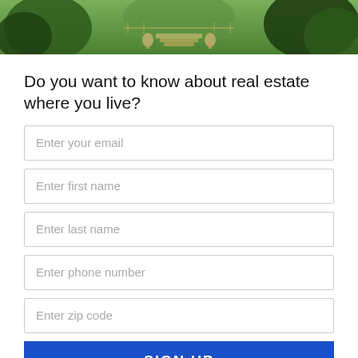[Figure (photo): Outdoor garden scene with stairs, urns, and lush green trees and foliage]
Do you want to know about real estate where you live?
Enter your email
Enter first name
Enter last name
Enter phone number
Enter zip code
SIGN UP
And don't worry, we hate spam too! You can unsubscribe at